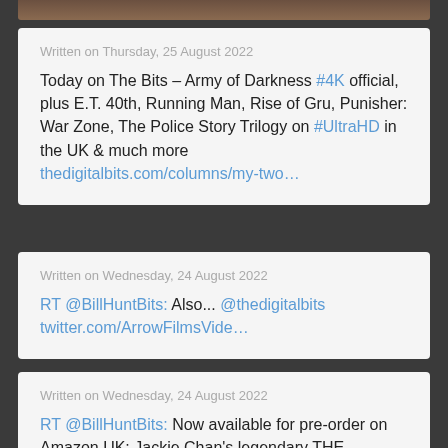[Figure (photo): Partial top image visible at the top of the page, cropped]
Written on Thursday, 25 August 2022
Today on The Bits – Army of Darkness #4K official, plus E.T. 40th, Running Man, Rise of Gru, Punisher: War Zone, The Police Story Trilogy on #UltraHD in the UK & much more thedigitalbits.com/columns/my-two…
Written on Wednesday, 24 August 2022
RT @BillHuntBits: Also... @thedigitalbits twitter.com/ArrowFilmsVide…
Written on Wednesday, 24 August 2022
RT @BillHuntBits: Now available for pre-order on Amazon UK: Jackie Chan's legendary THE